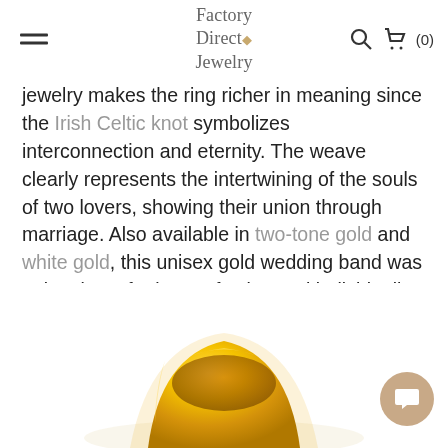Factory Direct Jewelry
jewelry makes the ring richer in meaning since the Irish Celtic knot symbolizes interconnection and eternity. The weave clearly represents the intertwining of the souls of two lovers, showing their union through marriage. Also available in two-tone gold and white gold, this unisex gold wedding band was uniquely crafted to perfection and individually polished by our best jewelry makers, ensuring superb quality of every product.
[Figure (photo): Close-up photo of a gold wedding band ring, partially visible at the bottom of the page, showing a smooth polished yellow gold surface.]